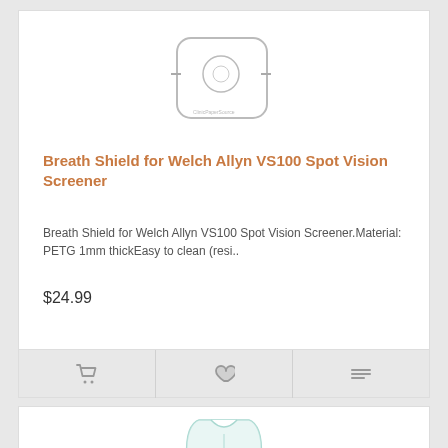[Figure (photo): Product image of Breath Shield for Welch Allyn VS100 Spot Vision Screener — line drawing of a rounded square device with circular lens opening]
Breath Shield for Welch Allyn VS100 Spot Vision Screener
Breath Shield for Welch Allyn VS100 Spot Vision Screener.Material: PETG 1mm thickEasy to clean (resi..
$24.99
[Figure (photo): Product image of Slit Lamp Breath Shield for Haag Streit BM 900 — curved transparent acrylic shield]
Slit Lamp Breath Shield for Haag Streit BM 900, Curved, Extra Large, Thick Acrylic
Slit Lamp Breath Shield for Haag Streit BM 900 slit lamp. This Shield